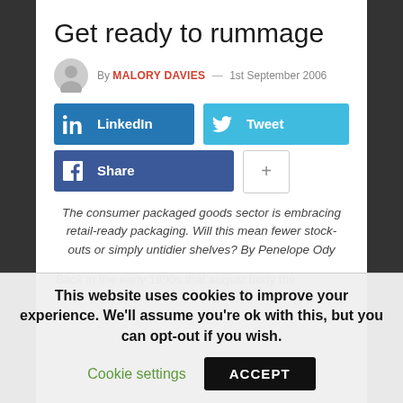Get ready to rummage
By MALORY DAVIES — 1st September 2006
[Figure (other): Social share buttons: LinkedIn, Tweet, Share (Facebook), and a + button]
The consumer packaged goods sector is embracing retail-ready packaging. Will this mean fewer stock-outs or simply untidier shelves? By Penelope Ody
Back in the early 1990s that august body the
This website uses cookies to improve your experience. We'll assume you're ok with this, but you can opt-out if you wish.
Cookie settings   ACCEPT